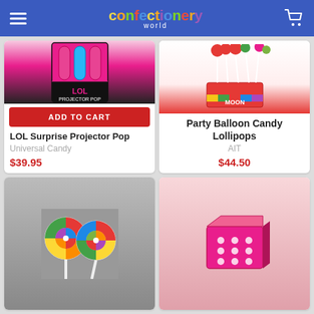confectionery world
[Figure (photo): LOL Surprise Projector Pop product display box with pink and black packaging]
ADD TO CART
LOL Surprise Projector Pop
Universal Candy
$39.95
[Figure (photo): Party Balloon Candy Lollipops displayed in a red stand with colorful balloon-shaped lollipops]
Party Balloon Candy Lollipops
AIT
$44.50
[Figure (photo): Rainbow swirl lollipops, two large colorful pinwheel lollipops]
[Figure (photo): Pink candy product box]